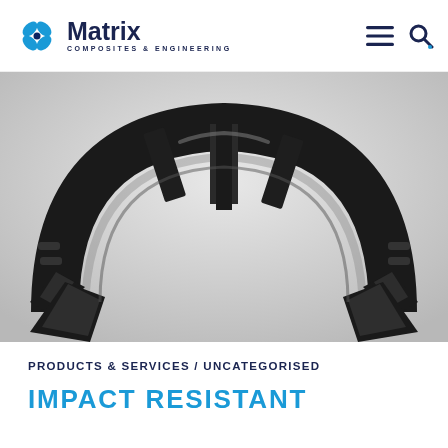Matrix Composites & Engineering
[Figure (photo): Black composite arc-shaped structural component with ribs and flanges photographed on a white background]
PRODUCTS & SERVICES / UNCATEGORISED
IMPACT RESISTANT